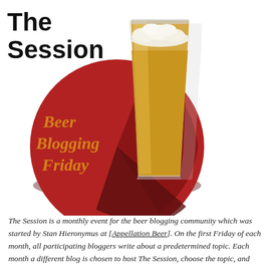The Session
[Figure (illustration): Illustration of a tall pint glass of golden beer with a white foam head, sitting on a dark red circular coaster/disc. The text 'Beer Blogging Friday' appears in orange on the left side of the red circle.]
The Session is a monthly event for the beer blogging community which was started by Stan Hieronymus at [Appellation Beer]. On the first Friday of each month, all participating bloggers write about a predetermined topic. Each month a different blog is chosen to host The Session, choose the topic, and